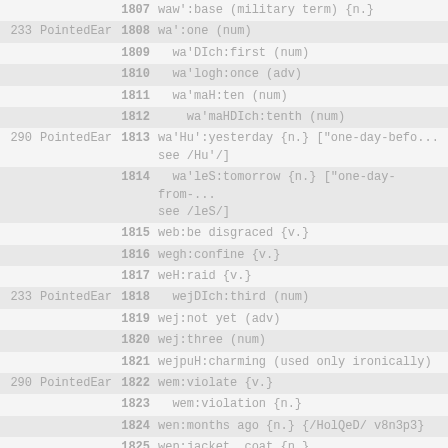| ref | source | num | entry |
| --- | --- | --- | --- |
|  |  | 1807 | waw':base (military term) {n.} |
| 233 | PointedEar | 1808 | wa':one (num) |
|  |  | 1809 | wa'DIch:first (num) |
|  |  | 1810 | wa'logh:once (adv) |
|  |  | 1811 | wa'maH:ten (num) |
|  |  | 1812 | wa'maHDIch:tenth (num) |
| 290 | PointedEar | 1813 | wa'Hu':yesterday {n.} ["one-day-befo... see /Hu'/] |
|  |  | 1814 | wa'leS:tomorrow {n.} ["one-day-from-... see /leS/] |
|  |  | 1815 | web:be disgraced {v.} |
|  |  | 1816 | wegh:confine {v.} |
|  |  | 1817 | weH:raid {v.} |
| 233 | PointedEar | 1818 | wejDIch:third (num) |
|  |  | 1819 | wej:not yet (adv) |
|  |  | 1820 | wej:three (num) |
|  |  | 1821 | wejpuH:charming (used only ironically) |
| 290 | PointedEar | 1822 | wem:violate {v.} |
|  |  | 1823 | wem:violation {n.} |
|  |  | 1824 | wen:months ago {n.} {/HolQeD/ v8n3p3} |
|  |  | 1825 | wep:jacket, coat {n.} |